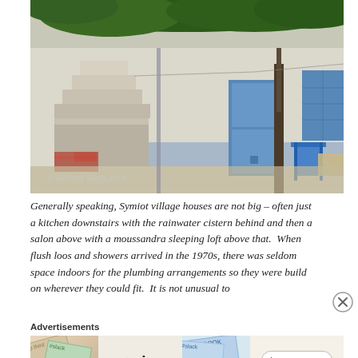[Figure (photo): A whitewashed Greek village house with blue door and shutters, stone steps on the left, a grapevine overhead, and blue plastic chairs on the right. Copyright watermark reads '© Adriana Shum 2018'.]
Generally speaking, Symiot village houses are not big – often just a kitchen downstairs with the rainwater cistern behind and then a salon above with a moussandra sleeping loft above that.  When flush loos and showers arrived in the 1970s, there was seldom space indoors for the plumbing arrangements so they were build on wherever they could fit.  It is not unusual to
Advertisements